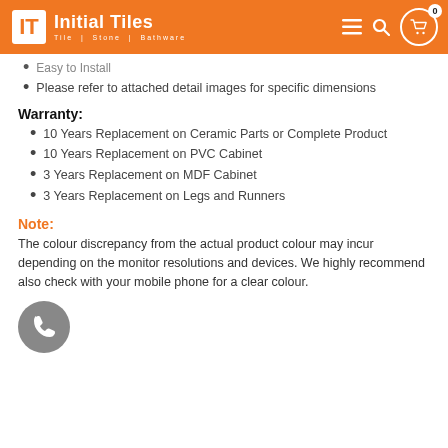Initial Tiles — Tile | Stone | Bathware
Easy to Install
Please refer to attached detail images for specific dimensions
Warranty:
10 Years Replacement on Ceramic Parts or Complete Product
10 Years Replacement on PVC Cabinet
3 Years Replacement on MDF Cabinet
3 Years Replacement on Legs and Runners
Note:
The colour discrepancy from the actual product colour may incur depending on the monitor resolutions and devices. We highly recommend also check with your mobile phone for a clear colour.
[Figure (illustration): Gray circular phone call button icon]